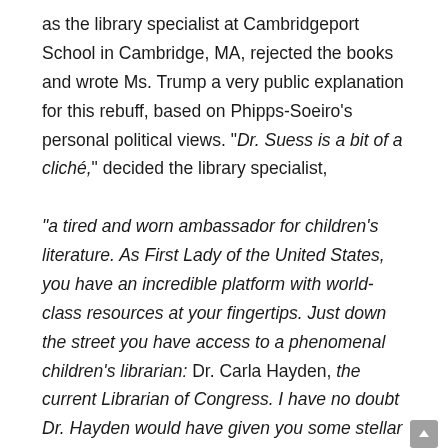as the library specialist at Cambridgeport School in Cambridge, MA, rejected the books and wrote Ms. Trump a very public explanation for this rebuff, based on Phipps-Soeiro's personal political views. "Dr. Suess is a bit of a cliché," decided the library specialist,

"a tired and worn ambassador for children's literature. As First Lady of the United States, you have an incredible platform with world-class resources at your fingertips. Just down the street you have access to a phenomenal children's librarian: Dr. Carla Hayden, the current Librarian of Congress. I have no doubt Dr. Hayden would have given you some stellar recommendations." [See the discussion about the politics of, and surrounding, Carla Hayden, the first African-American Librarian of Congress, later in this